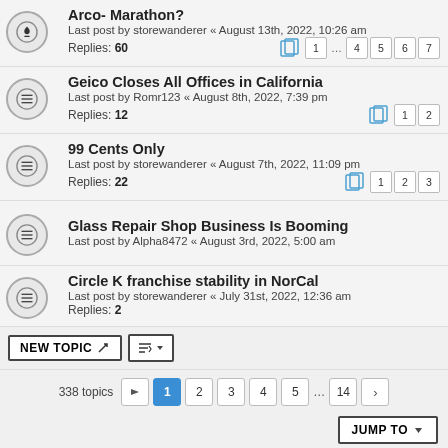Arco- Marathon? Last post by storewanderer « August 13th, 2022, 10:26 am Replies: 60
Geico Closes All Offices in California Last post by Romr123 « August 8th, 2022, 7:39 pm Replies: 12
99 Cents Only Last post by storewanderer « August 7th, 2022, 11:09 pm Replies: 22
Glass Repair Shop Business Is Booming Last post by Alpha8472 « August 3rd, 2022, 5:00 am
Circle K franchise stability in NorCal Last post by storewanderer « July 31st, 2022, 12:36 am Replies: 2
NEW TOPIC | 338 topics | 1 2 3 4 5 ... 14 | JUMP TO